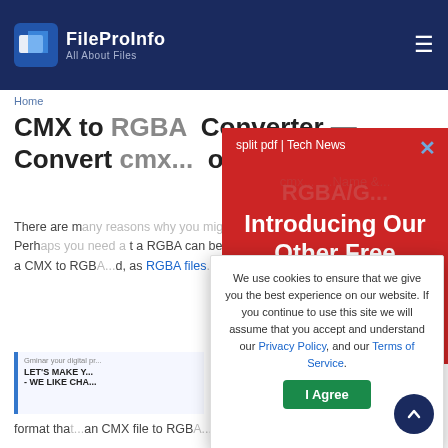FileProInfo — All About Files
Home
CMX to RGBA Converter — Convert ... online & free
There are many reasons why you might want to convert a CMX file to RGBA. Perhaps you need a RGBA can be read... is limited to devices that... rting a CMX to RGBA... d, as RGBA files... files
[Figure (infographic): Red promotional banner: 'split pdf | Tech News' and 'Introducing Our Other Free' with a close X button]
[Figure (infographic): Cookie consent modal with text: We use cookies to ensure that we give you the best experience on our website. If you continue to use this site we will assume that you accept and understand our Privacy Policy, and our Terms of Service. With 'I Agree' button.]
format that... an CMX file to RGBA... n be online for f... RBA